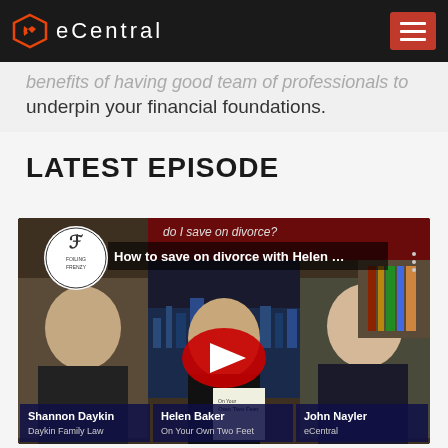eCentral
benefits of having good team of professionals to underpin your financial foundations.
LATEST EPISODE
[Figure (screenshot): YouTube video thumbnail showing 'How to save on divorce with Helen ...' with three people: Shannon Daykin (Daykin Family Law), Helen Baker (On Your Own Two Feet), and John Nayler (eCentral). Text overlay reads 'do I save on divorce?' with a YouTube play button in the center.]